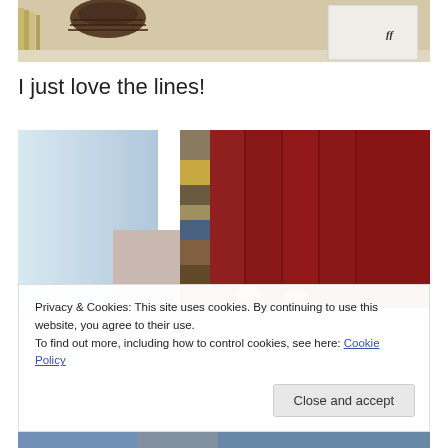[Figure (photo): Partial view of a shelf with a dark brown ribbed vase/bowl and a white box with a small logo, against a beige/tan background]
I just love the lines!
[Figure (photo): Close-up of book spines on a shelf — pale blue spine on left, dark multicolored spine in middle, several deep red/maroon spines on right, with bronze bookend knobs visible at the bottom]
Privacy & Cookies: This site uses cookies. By continuing to use this website, you agree to their use.
To find out more, including how to control cookies, see here: Cookie Policy
[Figure (photo): Partial view of more book spines at the bottom of the page, showing blue and patterned spines]